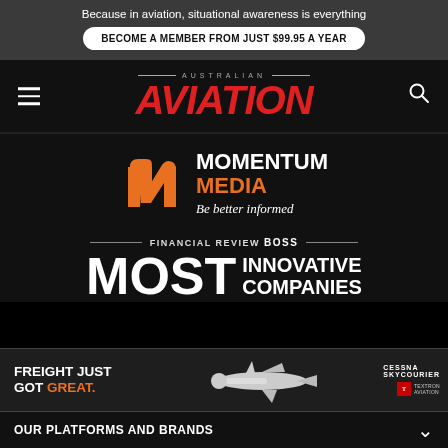Because in aviation, situational awareness is everything
BECOME A MEMBER FROM JUST $99.95 A YEAR
AUSTRALIAN AVIATION
[Figure (logo): Momentum Media logo with orange M/play-button icon and text MOMENTUM MEDIA, Be better informed]
[Figure (logo): Financial Review BOSS Most Innovative Companies award logo]
[Figure (logo): Cessna SkyCourier and Textron Aviation ad banner - FREIGHT JUST GOT GREAT with aircraft image]
OUR PLATFORMS AND BRANDS